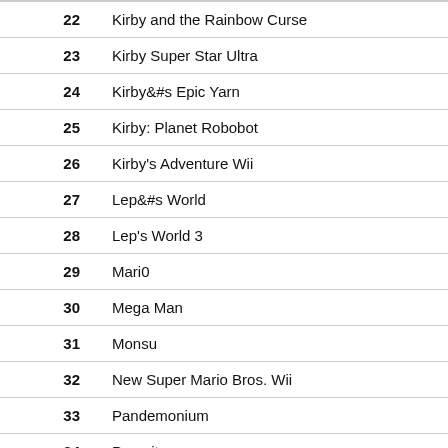| # | Title |
| --- | --- |
| 22 | Kirby and the Rainbow Curse |
| 23 | Kirby Super Star Ultra |
| 24 | Kirby&#s Epic Yarn |
| 25 | Kirby: Planet Robobot |
| 26 | Kirby's Adventure Wii |
| 27 | Lep&#s World |
| 28 | Lep's World 3 |
| 29 | Mari0 |
| 30 | Mega Man |
| 31 | Monsu |
| 32 | New Super Mario Bros. Wii |
| 33 | Pandemonium |
| 34 | Parasite |